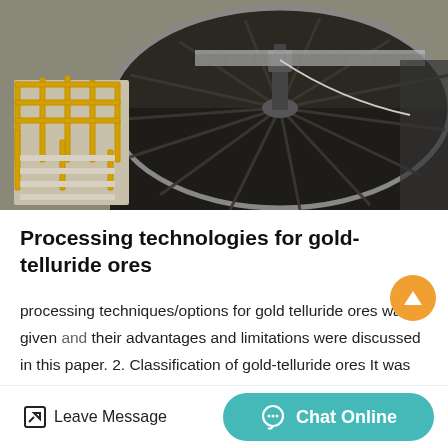[Figure (photo): Aerial/overhead view of industrial gold processing equipment — a large circular thickener or mill tank with spiral rake mechanism, yellow safety railings and staircase, industrial machinery in background, grey tones.]
Processing technologies for gold-telluride ores
processing techniques/options for gold telluride ores was given and their advantages and limitations were discussed in this paper. 2. Classification of gold-telluride ores It was well known that gold was commonly associated with telluride minerals. The
Leave Message   Chat Online